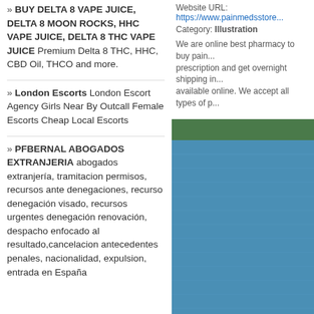» BUY DELTA 8 VAPE JUICE, DELTA 8 MOON ROCKS, HHC VAPE JUICE, DELTA 8 THC VAPE JUICE Premium Delta 8 THC, HHC, CBD Oil, THCO and more.
» London Escorts London Escort Agency Girls Near By Outcall Female Escorts Cheap Local Escorts
» PFBERNAL ABOGADOS EXTRANJERIA abogados extranjería, tramitacion permisos, recursos ante denegaciones, recurso denegación visado, recursos urgentes denegación renovación, despacho enfocado al resultado,cancelacion antecedentes penales, nacionalidad, expulsion, entrada en España
Website URL: https://www.painmedsstore...
Category: Illustration
We are online best pharmacy to buy pain... prescription and get overnight shipping in... available online. We accept all types of p...
[Figure (infographic): Advertisement banner: PUT YOUR 468... only $1/direc...]
[Figure (infographic): Alexa Traffic panel with diagonal stripe pattern and 'Ale...' text. Alexa Traffic for ht...]
[Figure (photo): Mountain lake landscape background photo on right side of page]